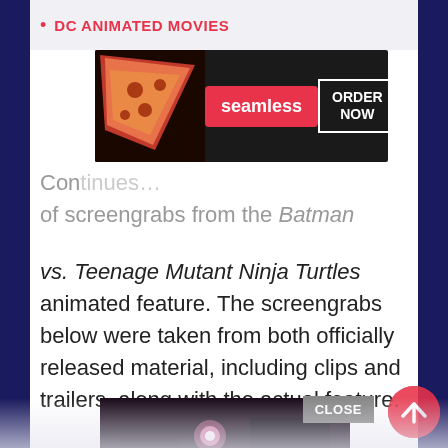DC ANIMATED MOVIES
[Figure (screenshot): Seamless food delivery advertisement banner showing pizza slices on the left, 'seamless' logo in red center, and 'ORDER NOW' button on the right against a dark background]
Con[tinues with] of screengrabs from the Batman vs. Teenage Mutant Ninja Turtles animated feature. The screengrabs below were taken from both officially released material, including clips and trailers, along with the actual feature.
[Figure (screenshot): Dark thumbnail image showing what appears to be a scene from Batman vs. Teenage Mutant Ninja Turtles with a pink/purple glowing orb and dark figures]
[Figure (screenshot): Partially visible second thumbnail image below the first one, lighter colored]